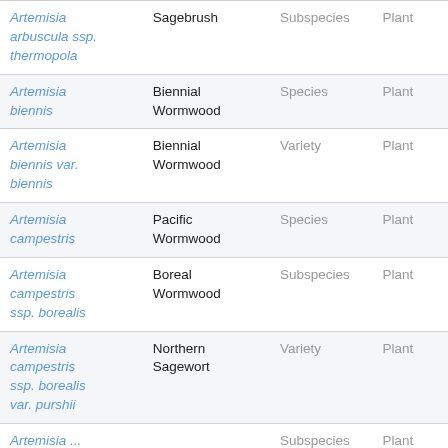| Scientific Name | Common Name | Rank | Kingdom |
| --- | --- | --- | --- |
| Artemisia arbuscula ssp. thermopola | Sagebrush | Subspecies | Plant |
| Artemisia biennis | Biennial Wormwood | Species | Plant |
| Artemisia biennis var. biennis | Biennial Wormwood | Variety | Plant |
| Artemisia campestris | Pacific Wormwood | Species | Plant |
| Artemisia campestris ssp. borealis | Boreal Wormwood | Subspecies | Plant |
| Artemisia campestris ssp. borealis var. purshii | Northern Sagewort | Variety | Plant |
| Artemisia ... |  | Subspecies | Plant |